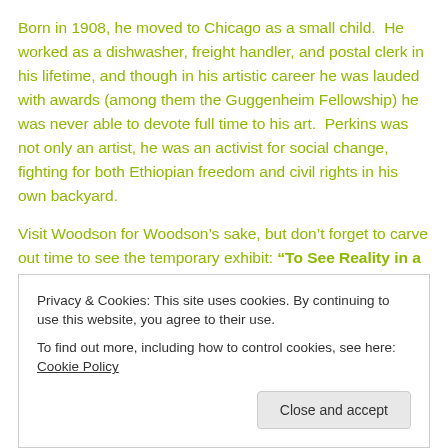Born in 1908, he moved to Chicago as a small child. He worked as a dishwasher, freight handler, and postal clerk in his lifetime, and though in his artistic career he was lauded with awards (among them the Guggenheim Fellowship) he was never able to devote full time to his art. Perkins was not only an artist, he was an activist for social change, fighting for both Ethiopian freedom and civil rights in his own backyard.
Visit Woodson for Woodson’s sake, but don’t forget to carve out time to see the temporary exhibit: “To See Reality in a New
Privacy & Cookies: This site uses cookies. By continuing to use this website, you agree to their use.
To find out more, including how to control cookies, see here: Cookie Policy